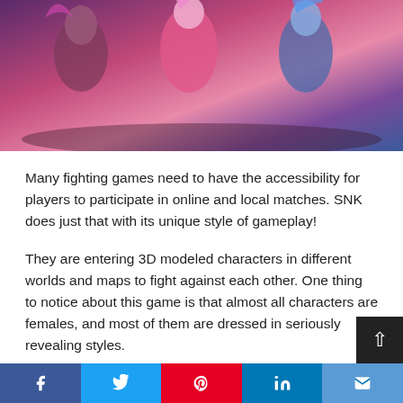[Figure (illustration): Anime-style female fighting game characters posed together in a colorful game scene.]
Many fighting games need to have the accessibility for players to participate in online and local matches. SNK does just that with its unique style of gameplay!
They are entering 3D modeled characters in different worlds and maps to fight against each other. One thing to notice about this game is that almost all characters are females, and most of them are dressed in seriously revealing styles.
15. BlazBlue CentralFiction
Share buttons: Facebook, Twitter, Pinterest, LinkedIn, Email